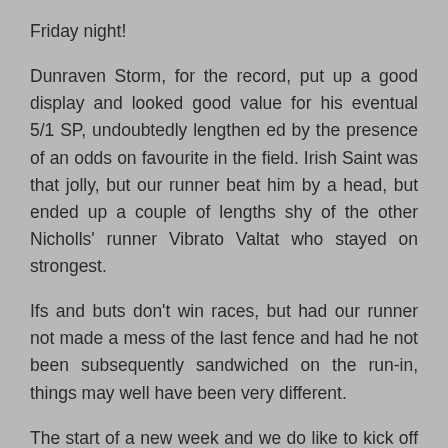Friday night!
Dunraven Storm, for the record, put up a good display and looked good value for his eventual 5/1 SP, undoubtedly lengthen ed by the presence of an odds on favourite in the field. Irish Saint was that jolly, but our runner beat him by a head, but ended up a couple of lengths shy of the other Nicholls' runner Vibrato Valtat who stayed on strongest.
Ifs and buts don't win races, but had our runner not made a mess of the last fence and had he not been subsequently sandwiched on the run-in, things may well have been very different.
The start of a new week and we do like to kick off with a winner, where possible and so my quest leads us to the...